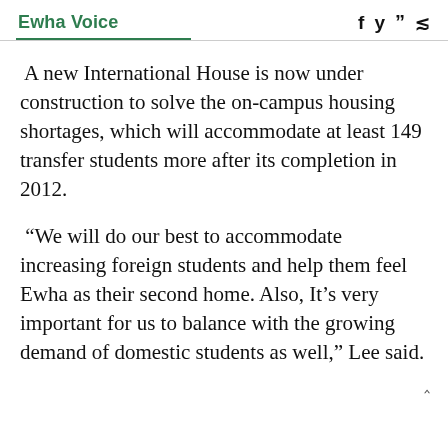Ewha Voice
A new International House is now under construction to solve the on-campus housing shortages, which will accommodate at least 149 transfer students more after its completion in 2012.
“We will do our best to accommodate increasing foreign students and help them feel Ewha as their second home. Also, It’s very important for us to balance with the growing demand of domestic students as well,” Lee said.